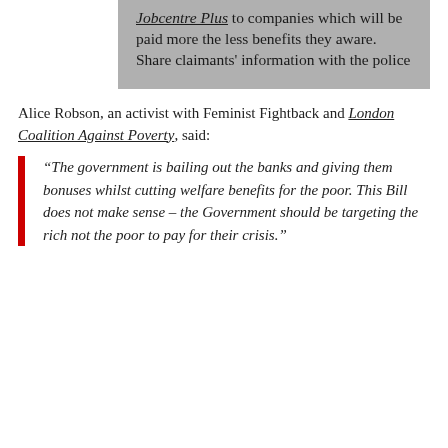Jobcentre Plus to companies which will be paid more the less benefits they aware. Share claimants' information with the police
Alice Robson, an activist with Feminist Fightback and London Coalition Against Poverty, said:
“The government is bailing out the banks and giving them bonuses whilst cutting welfare benefits for the poor. This Bill does not make sense – the Government should be targeting the rich not the poor to pay for their crisis.”